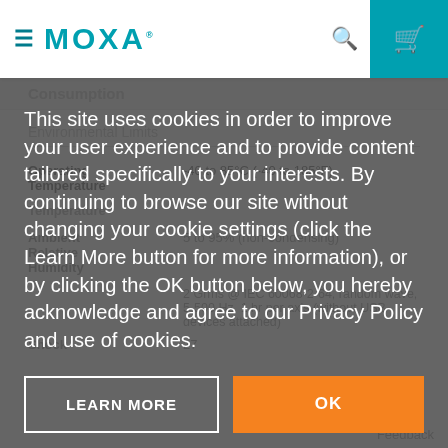MOXA
Consumption
Environmental Limits
| Property | Value |
| --- | --- |
| Operating Temperature | -40 to 85°C (-40 to 185°F) |
| Temperature |  |
| Ambient Relative Humidity | 5 to 95% (non-condensing) |
| Vibration | 2 Grms @ IEC 60068-2-64, random wave, 5-500 Hz, 1 hr per axis (without USB devices attached) |
| Shock | 27 |
This site uses cookies in order to improve your user experience and to provide content tailored specifically to your interests. By continuing to browse our site without changing your cookie settings (click the Learn More button for more information), or by clicking the OK button below, you hereby acknowledge and agree to our Privacy Policy and use of cookies.
LEARN MORE
OK
Feedback